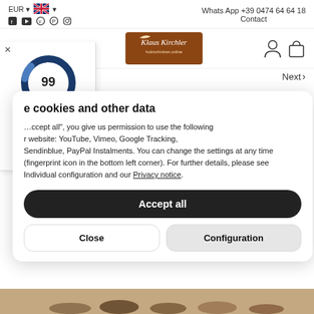EUR  Whats App +39 0474 64 64 18  Contact
[Figure (logo): Klaus Kirchler holzschnitzer.online logo on wooden background]
[Figure (infographic): Rating widget showing donut chart with score 99, Ausgezeichnet, 5.00/5.00, star rating, Bewertungsgrundlage dieses Anbieters sind 4 Bewertungsplattformen]
Next >
e cookies and other data
Accept all", you give us permission to use the following r website: YouTube, Vimeo, Google Tracking, Sendinblue, PayPal Instalments. You can change the settings at any time (fingerprint icon in the bottom left corner). For further details, please see Individual configuration and our Privacy notice.
Accept all
Close
Configuration